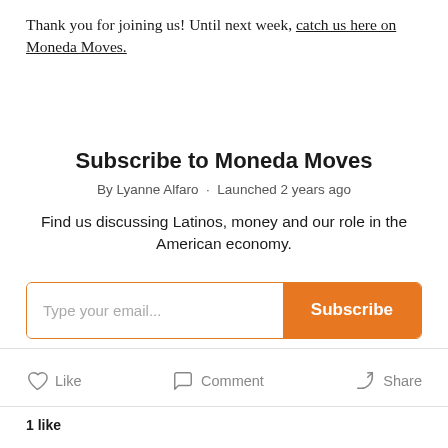Thank you for joining us! Until next week, catch us here on Moneda Moves.
Subscribe to Moneda Moves
By Lyanne Alfaro · Launched 2 years ago
Find us discussing Latinos, money and our role in the American economy.
[Figure (other): Email subscription form with text input placeholder 'Type your email...' and orange Subscribe button]
Like   Comment   Share
1 like